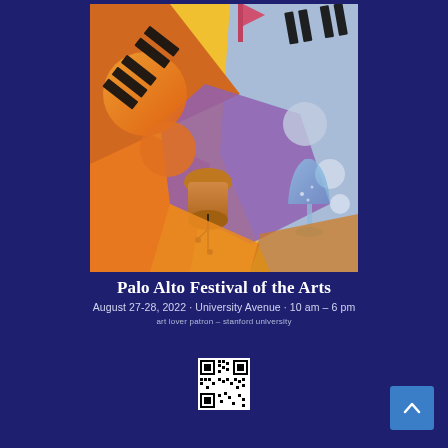[Figure (illustration): Colorful abstract illustration for the Palo Alto Festival of the Arts featuring piano keys, geometric shapes, musical instrument (clay pot/drum), champagne flute, and orange/yellow/purple abstract forms on a vivid artistic background]
Palo Alto Festival of the Arts
August 27-28, 2022 · University Avenue · 10 am – 6 pm
art lover patron – stanford university
[Figure (other): QR code for the Palo Alto Festival of the Arts event]
[Figure (other): Navigation button (up arrow) in blue square]